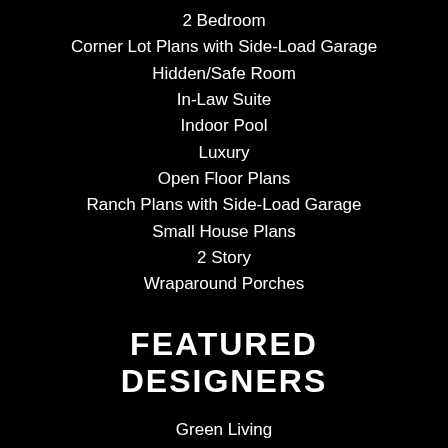2 Bedroom
Corner Lot Plans with Side-Load Garage
Hidden/Safe Room
In-Law Suite
Indoor Pool
Luxury
Open Floor Plans
Ranch Plans with Side-Load Garage
Small House Plans
2 Story
Wraparound Porches
FEATURED DESIGNERS
Green Living
Homeplanners, L.L.C.
Select Home Designs
Simply Classic Designs